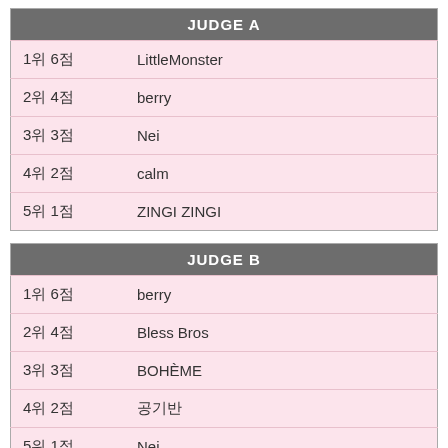| JUDGE A |  |
| --- | --- |
| 1위 6점 | LittleMonster |
| 2위 4점 | berry |
| 3위 3점 | Nei |
| 4위 2점 | calm |
| 5위 1점 | ZINGI ZINGI |
| JUDGE B |  |
| --- | --- |
| 1위 6점 | berry |
| 2위 4점 | Bless Bros |
| 3위 3점 | BOHÈME |
| 4위 2점 | 공기반 |
| 5위 1점 | Nei |
| JUDGE C |  |
| --- | --- |
| 1위 6점 | berry |